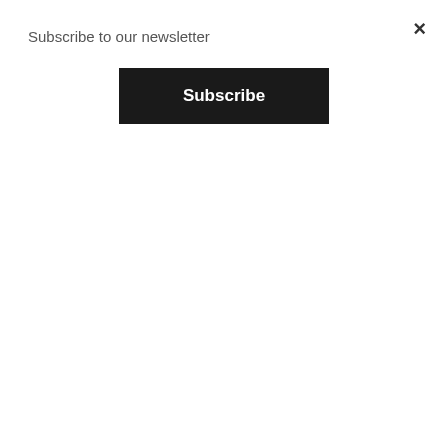Subscribe to our newsletter
Subscribe
and admirable places in Macedonia. Everyone knows its natural beauty, its deserted villages, its impressive canyons, small bridges, ancient relics and medieval monuments. Many are familiar with its folk traditions if only from the recent movies promoting Macedonia inspired by the outstanding images of this region. Yet, the region is not overrun by visitors and adventure seekers. Actually it is still barren and deserted land with only 800 inhabitants living in an area of 1400 square kilometres.
Mariovo lies in the southern most part of Macedonia, bordering on Greece, and has a rather